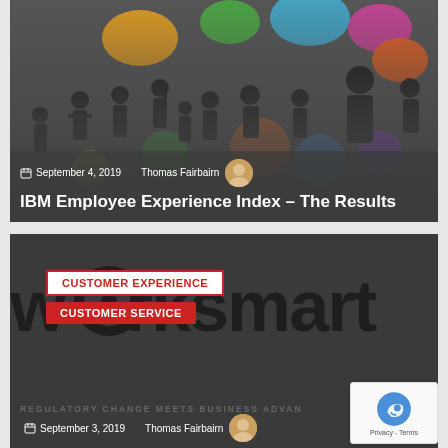[Figure (screenshot): Card 1: Dark grey background with silhouette figures and colorful speech bubbles. Shows date September 4, 2019, author Thomas Fairbairn with avatar, and title 'IBM Employee Experience Index – The Results']
September 4, 2019   Thomas Fairbairn
IBM Employee Experience Index – The Results
[Figure (screenshot): Card 2: Dark background with 'CUSTOMER EXPERIENCE' and 'CUSTOMER SERVICE' tag buttons, large 'worksmart' text, subtitle 'REGULATORY CHANGE MEETS BUSINESS ADVAN...' partially visible, date September 3, 2019, author Thomas Fairbairn with avatar]
CUSTOMER EXPERIENCE
CUSTOMER SERVICE
worksmart
REGULATORY CHANGE MEETS BUSINESS ADVAN...
September 3, 2019   Thomas Fairbairn